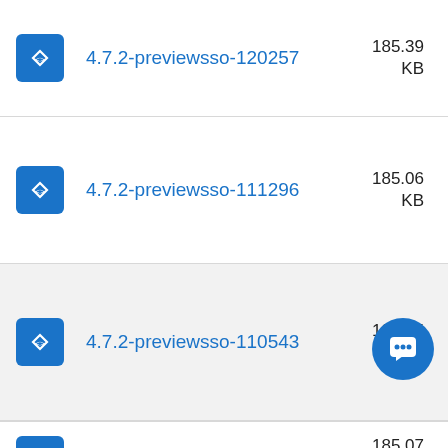4.7.2-previewsso-120257 185.39 KB
4.7.2-previewsso-111296 185.06 KB
4.7.2-previewsso-110543 185.05 KB
185.07